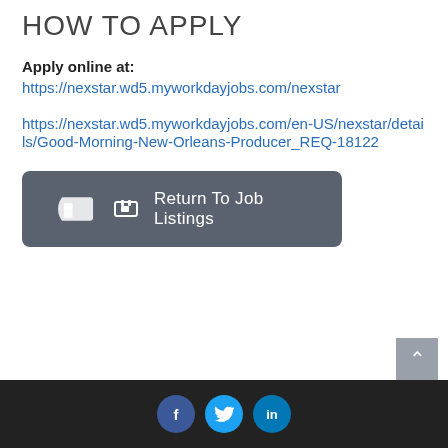HOW TO APPLY
Apply online at:
https://nexstar.wd5.myworkdayjobs.com/nexstar
https://nexstar.wd5.myworkdayjobs.com/en-US/nexstar/details/Good-Morning-New-Orleans-Producer_REQ-18122
Return To Job Listings
Social media links: Facebook, Twitter, LinkedIn